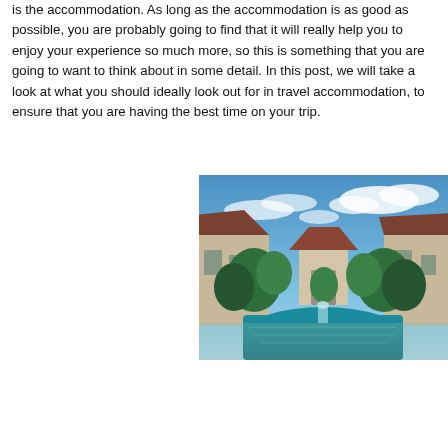is the accommodation. As long as the accommodation is as good as possible, you are probably going to find that it will really help you to enjoy your experience so much more, so this is something that you are going to want to think about in some detail. In this post, we will take a look at what you should ideally look out for in travel accommodation, to ensure that you are having the best time on your trip.
[Figure (photo): A tropical resort with a large swimming pool in the foreground, lush palm trees, Asian-style buildings with dark tiled roofs on either side, and a blue sky with white clouds above.]